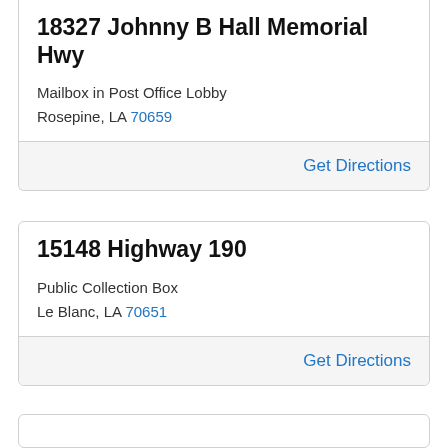18327 Johnny B Hall Memorial Hwy
Mailbox in Post Office Lobby
Rosepine, LA 70659
Get Directions
15148 Highway 190
Public Collection Box
Le Blanc, LA 70651
Get Directions